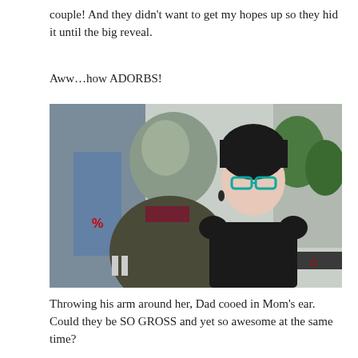couple! And they didn't want to get my hopes up so they hid it until the big reveal.
Aww…how ADORBS!
[Figure (screenshot): Screenshot from The Sims 4 video game showing two characters facing each other — one with grey hair seen from behind, and one with dark hair and teal glasses wearing a black top and necklace, standing outside a shop.]
Throwing his arm around her, Dad cooed in Mom's ear. Could they be SO GROSS and yet so awesome at the same time?